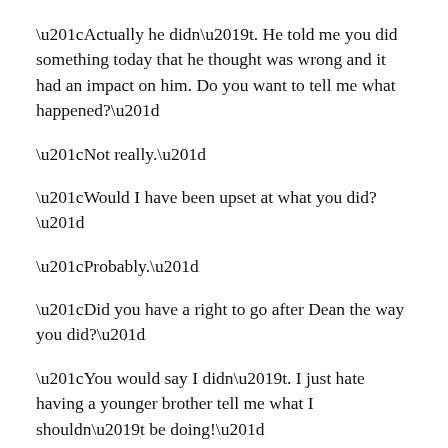“Actually he didn’t.  He told me you did something today that he thought was wrong and it had an impact on him.  Do you want to tell me what happened?”
“Not really.”
“Would I have been upset at what you did?”
“Probably.”
“Did you have a right to go after Dean the way you did?”
“You would say I didn’t.  I just hate having a younger brother tell me what I shouldn’t be doing!”
“Emily, family is about “we”.  We want what is best for you and it sounds like that was what Dean was trying to convey to you.  No matter what you choose to do, it has the potential to have an impact on our family.  Does that make sense?”